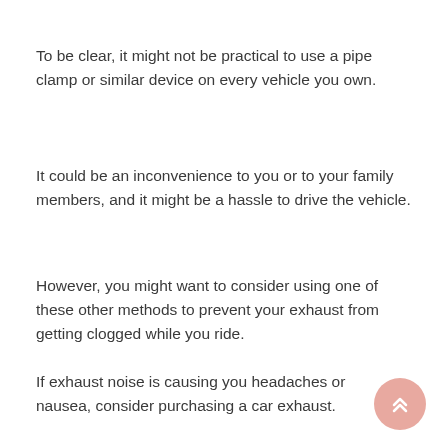To be clear, it might not be practical to use a pipe clamp or similar device on every vehicle you own.
It could be an inconvenience to you or to your family members, and it might be a hassle to drive the vehicle.
However, you might want to consider using one of these other methods to prevent your exhaust from getting clogged while you ride.
If exhaust noise is causing you headaches or nausea, consider purchasing a car exhaust.